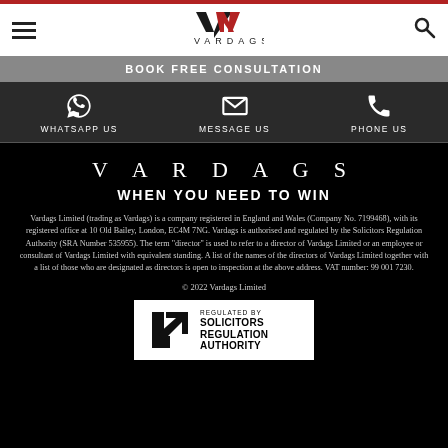VARDAGS
BOOK FREE CONSULTATION
WHATSAPP US   MESSAGE US   PHONE US
VARDAGS
WHEN YOU NEED TO WIN
Vardags Limited (trading as Vardags) is a company registered in England and Wales (Company No. 7199468), with its registered office at 10 Old Bailey, London, EC4M 7NG. Vardags is authorised and regulated by the Solicitors Regulation Authority (SRA Number 535955). The term "director" is used to refer to a director of Vardags Limited or an employee or consultant of Vardags Limited with equivalent standing. A list of the names of the directors of Vardags Limited together with a list of those who are designated as directors is open to inspection at the above address. VAT number: 99 001 7230.
© 2022 Vardags Limited
[Figure (logo): Solicitors Regulation Authority regulated by badge with arrow logo]